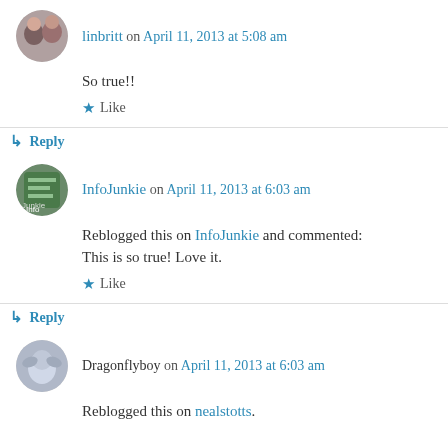linbritt on April 11, 2013 at 5:08 am
So true!!
★ Like
↳ Reply
InfoJunkie on April 11, 2013 at 6:03 am
Reblogged this on InfoJunkie and commented: This is so true! Love it.
★ Like
↳ Reply
Dragonflyboy on April 11, 2013 at 6:03 am
Reblogged this on nealstotts.